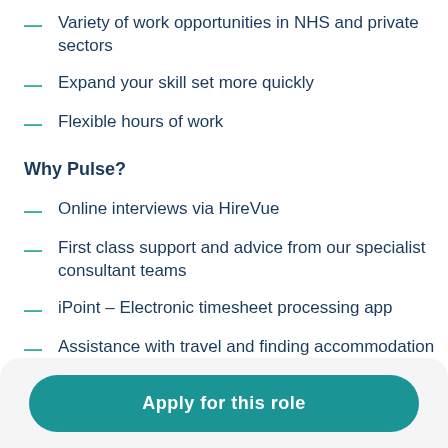Variety of work opportunities in NHS and private sectors
Expand your skill set more quickly
Flexible hours of work
Why Pulse?
Online interviews via HireVue
First class support and advice from our specialist consultant teams
iPoint – Electronic timesheet processing app
Assistance with travel and finding accommodation
Apply for this role